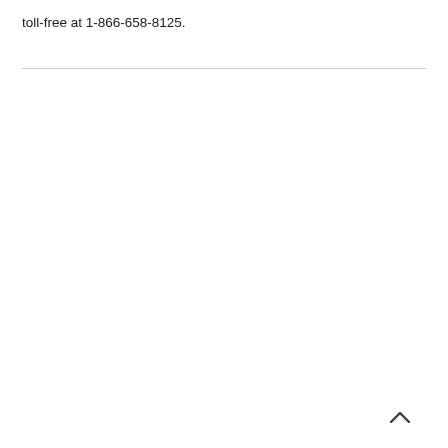toll-free at 1-866-658-8125.
^